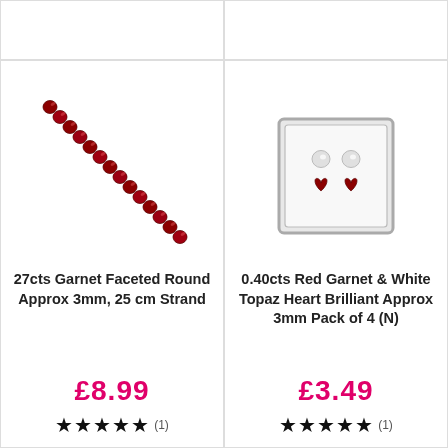[Figure (photo): Top-left product image area (partially visible at top)]
[Figure (photo): Top-right product image area (partially visible at top)]
[Figure (illustration): 27cts Garnet Faceted Round Approx 3mm, 25 cm Strand - diagonal strand of red garnet beads]
27cts Garnet Faceted Round Approx 3mm, 25 cm Strand
£8.99
★★★★★ (1)
[Figure (photo): 0.40cts Red Garnet & White Topaz Heart Brilliant Approx 3mm Pack of 4 (N) - earrings in silver box]
0.40cts Red Garnet & White Topaz Heart Brilliant Approx 3mm Pack of 4 (N)
£3.49
★★★★★ (1)